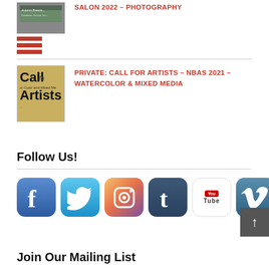[Figure (screenshot): Thumbnail image of a photography exhibition poster with red horizontal lines/menu icon below it]
SALON 2022 – PHOTOGRAPHY
[Figure (illustration): Thumbnail of a Call for Artists flyer with beige/gold background showing text 'Call for Artists' in large font]
PRIVATE: CALL FOR ARTISTS – NBAS 2021 – WATERCOLOR & MIXED MEDIA
Follow Us!
[Figure (logo): Row of six social media icons: Facebook, Twitter, Instagram, Tumblr, YouTube, Vimeo]
Join Our Mailing List